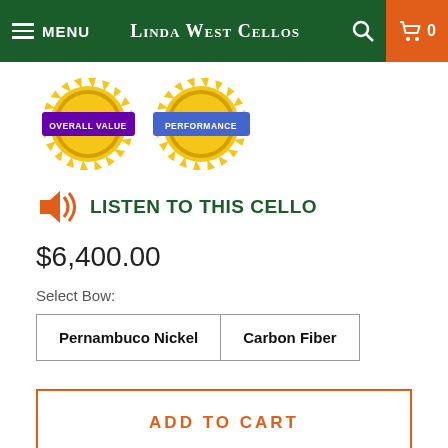MENU | LINDA WEST CELLOS | 🔍 | 🛒 0
[Figure (illustration): Two gold seal badges labeled 'OVERALL VALUE' and 'PERFORMANCE' with purple banners]
🔊 LISTEN TO THIS CELLO
$6,400.00
Select Bow:
Pernambuco Nickel | Carbon Fiber
ADD TO CART